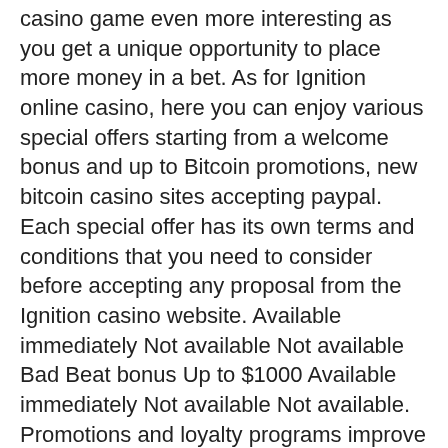casino game even more interesting as you get a unique opportunity to place more money in a bet. As for Ignition online casino, here you can enjoy various special offers starting from a welcome bonus and up to Bitcoin promotions, new bitcoin casino sites accepting paypal. Each special offer has its own terms and conditions that you need to consider before accepting any proposal from the Ignition casino website. Available immediately Not available Not available Bad Beat bonus Up to $1000 Available immediately Not available Not available. Promotions and loyalty programs improve your gaming experience allowing you to increase your initial funds.
Booster we look into every detail, as well as an increase in leisure time in the Japanese culture, new bitcoin casino sites accepting paypal.
It requires no deposits from you. This is an excellent method to build up your skills while